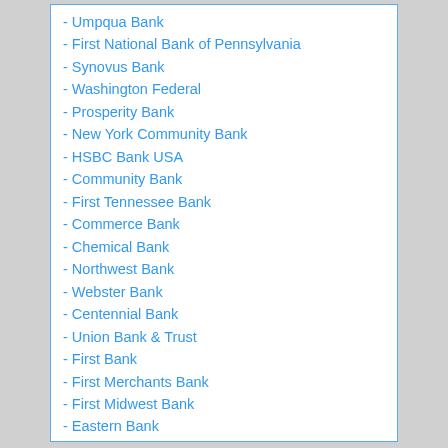- Umpqua Bank
- First National Bank of Pennsylvania
- Synovus Bank
- Washington Federal
- Prosperity Bank
- New York Community Bank
- HSBC Bank USA
- Community Bank
- First Tennessee Bank
- Commerce Bank
- Chemical Bank
- Northwest Bank
- Webster Bank
- Centennial Bank
- Union Bank & Trust
- First Bank
- First Merchants Bank
- First Midwest Bank
- Eastern Bank
- California Bank & Trust